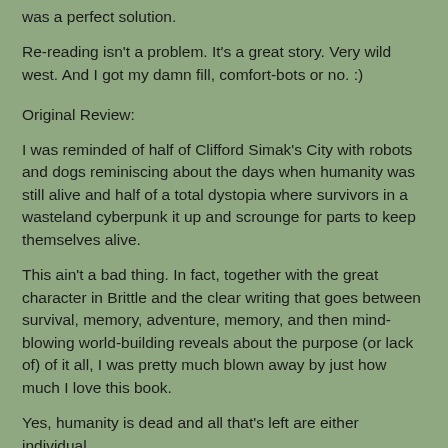was a perfect solution.
Re-reading isn't a problem. It's a great story. Very wild west. And I got my damn fill, comfort-bots or no. :)
Original Review:
I was reminded of half of Clifford Simak's City with robots and dogs reminiscing about the days when humanity was still alive and half of a total dystopia where survivors in a wasteland cyberpunk it up and scrounge for parts to keep themselves alive.
This ain't a bad thing. In fact, together with the great character in Brittle and the clear writing that goes between survival, memory, adventure, memory, and then mind-blowing world-building reveals about the purpose (or lack of) of it all, I was pretty much blown away by just how much I love this book.
Yes, humanity is dead and all that's left are either individual